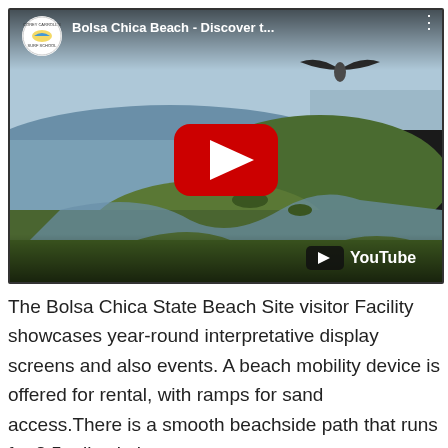[Figure (screenshot): YouTube video thumbnail for 'Bolsa Chica Beach - Discover t...' showing an aerial view of wetlands with marshes, water channels, and a bird in flight. A red YouTube play button is centered on the image. The top bar shows a channel logo (Corey Carroll's Surf School) and video title. The bottom right shows the YouTube logo.]
The Bolsa Chica State Beach Site visitor Facility showcases year-round interpretative display screens and also events. A beach mobility device is offered for rental, with ramps for sand access.There is a smooth beachside path that runs for 8.5 miles in between